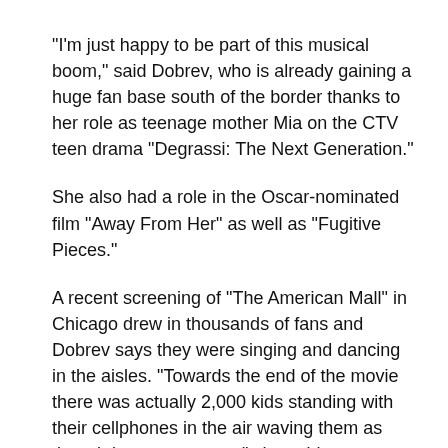"I'm just happy to be part of this musical boom," said Dobrev, who is already gaining a huge fan base south of the border thanks to her role as teenage mother Mia on the CTV teen drama "Degrassi: The Next Generation."
She also had a role in the Oscar-nominated film "Away From Her" as well as "Fugitive Pieces."
A recent screening of "The American Mall" in Chicago drew in thousands of fans and Dobrev says they were singing and dancing in the aisles. "Towards the end of the movie there was actually 2,000 kids standing with their cellphones in the air waving them as though it was a concert," she said.
Sears teamed up with MTV to make "The American Mall" as part of a marketing campaign, which means viewers will see the retail giant's logo at several points in the film.